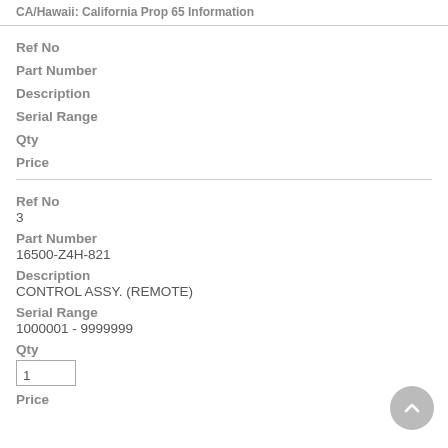CA/Hawaii: California Prop 65 Information
Ref No
Part Number
Description
Serial Range
Qty
Price
Ref No
3
Part Number
16500-Z4H-821
Description
CONTROL ASSY. (REMOTE)
Serial Range
1000001 - 9999999
Qty
1
Price